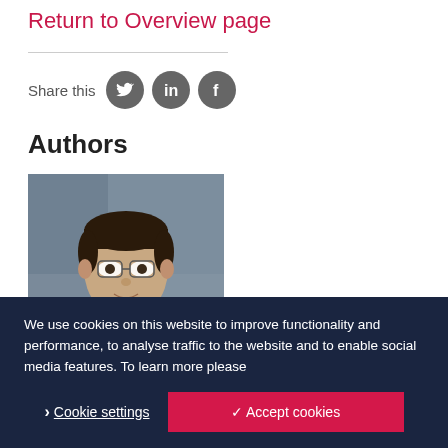Return to Overview page
Share this
Authors
[Figure (photo): Headshot photo of a man with dark hair wearing glasses and a suit, with a blurred grey background.]
We use cookies on this website to improve functionality and performance, to analyse traffic to the website and to enable social media features. To learn more please
Cookie settings
✓ Accept cookies